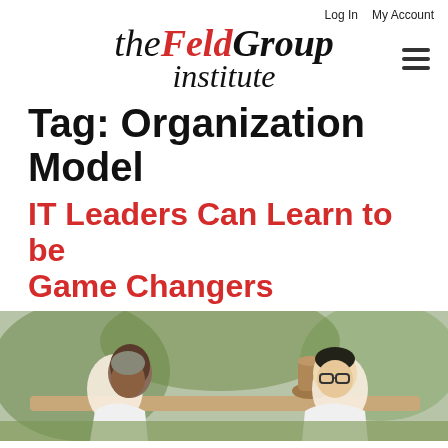Log In   My Account
the FeldGroup institute
Tag: Organization Model
IT Leaders Can Learn to be Game Changers
[Figure (photo): Two men sitting outdoors at a table, one with glasses, in conversation. Green outdoor setting visible in background.]